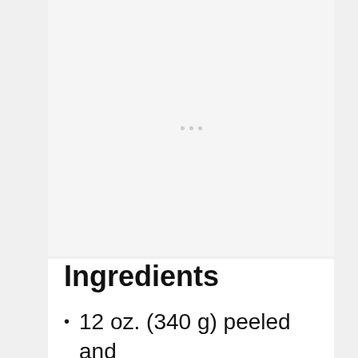[Figure (photo): Image placeholder area with three small grey dots indicating loading or placeholder content]
Ingredients
12 oz. (340 g) peeled and